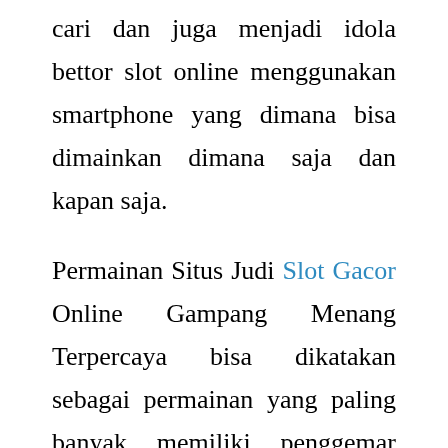cari dan juga menjadi idola bettor slot online menggunakan smartphone yang dimana bisa dimainkan dimana saja dan kapan saja.
Permainan Situs Judi Slot Gacor Online Gampang Menang Terpercaya bisa dikatakan sebagai permainan yang paling banyak memiliki penggemar diantara permainan judi online lainnya. Permainan dengan beberapa gulungan simbol atau angka ini bisa menjadi sangat menghibur. Apalagi jika kalian mendapatkan jackpot slot online terbesar